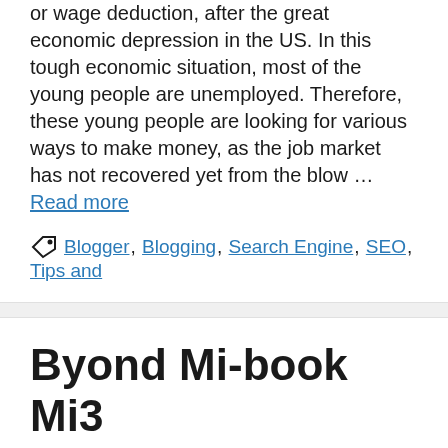or wage deduction, after the great economic depression in the US. In this tough economic situation, most of the young people are unemployed. Therefore, these young people are looking for various ways to make money, as the job market has not recovered yet from the blow … Read more
Tags: Blogger, Blogging, Search Engine, SEO, Tips and
Byond Mi-book Mi3 Tablet – Full Specifications